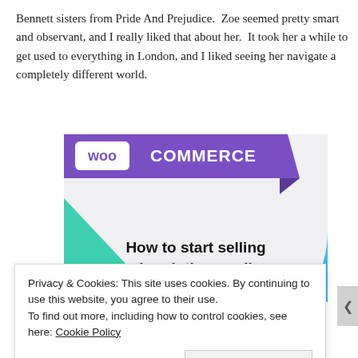Bennett sisters from Pride And Prejudice. Zoe seemed pretty smart and observant, and I really liked that about her. It took her a while to get used to everything in London, and I liked seeing her navigate a completely different world.
[Figure (illustration): WooCommerce advertisement image with purple header containing 'WOO COMMERCE' logo text, teal triangle shape on lower left, light blue curved shape on lower right, and bold text reading 'How to start selling subscriptions online' on light gray background.]
Privacy & Cookies: This site uses cookies. By continuing to use this website, you agree to their use.
To find out more, including how to control cookies, see here: Cookie Policy
Close and accept